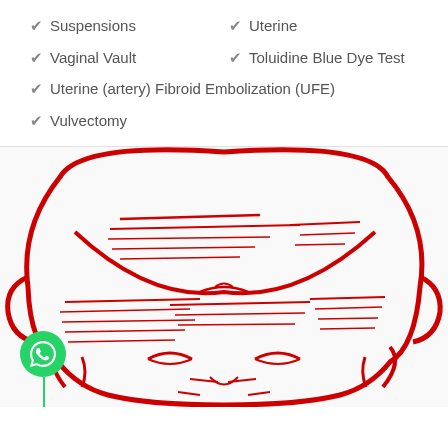Suspensions
Uterine
Vaginal Vault
Toluidine Blue Dye Test
Uterine (artery) Fibroid Embolization (UFE)
Vulvectomy
[Figure (illustration): Red line drawing illustration of a sleeping baby/infant face and head outline, with horizontal red lines across the face representing text or scan lines. A green WhatsApp icon button is overlaid at the bottom left.]